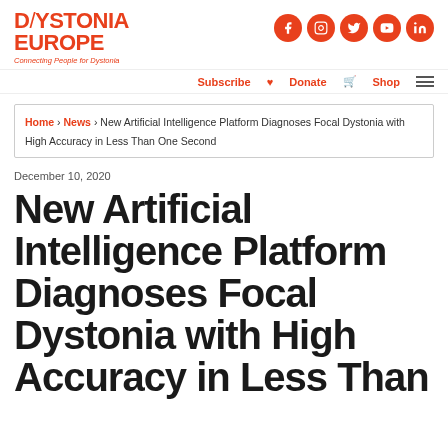DYSTONIA EUROPE — Connecting People for Dystonia
Subscribe  Donate  Shop
Home › News › New Artificial Intelligence Platform Diagnoses Focal Dystonia with High Accuracy in Less Than One Second
December 10, 2020
New Artificial Intelligence Platform Diagnoses Focal Dystonia with High Accuracy in Less Than